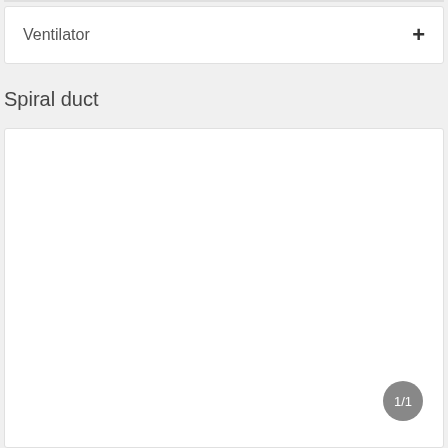Ventilator
Spiral duct
[Figure (other): Empty white box representing Spiral duct content area with a 1/1 pagination badge in the bottom right corner]